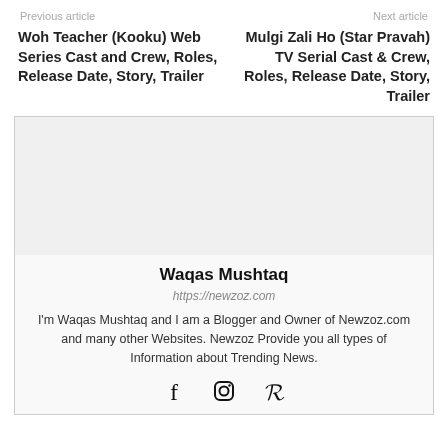Previous article    Next article
Woh Teacher (Kooku) Web Series Cast and Crew, Roles, Release Date, Story, Trailer
Mulgi Zali Ho (Star Pravah) TV Serial Cast & Crew, Roles, Release Date, Story, Trailer
[Figure (other): Author profile placeholder image area (blank/grey box)]
Waqas Mushtaq
https://newzoz.com
I'm Waqas Mushtaq and I am a Blogger and Owner of Newzoz.com and many other Websites. Newzoz Provide you all types of Information about Trending News.
[Figure (other): Social media icons: Facebook, Instagram, Pinterest]